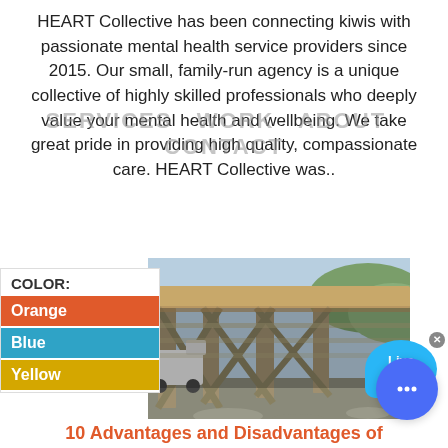HEART Collective has been connecting kiwis with passionate mental health service providers since 2015. Our small, family-run agency is a unique collective of highly skilled professionals who deeply value your mental health and wellbeing. We take great pride in providing high quality, compassionate care. HEART Collective was..
SERVICES  WORK  ABOUT  CONTACT
[Figure (other): Live Chat speech bubble widget in blue]
COLOR:
Orange
Blue
Yellow
[Figure (photo): Photograph taken from underneath a large bridge or overpass structure showing steel beams and concrete supports; a white truck is visible in the background on the left side.]
[Figure (other): Blue circular chat button with ellipsis icon]
10 Advantages and Disadvantages of